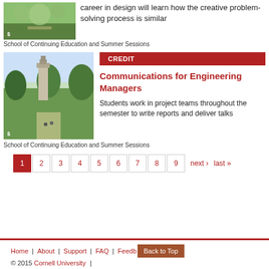[Figure (photo): Campus path with students walking, green lawn and trees]
career in design will learn how the creative problem-solving process is similar
School of Continuing Education and Summer Sessions
[Figure (photo): Cornell University McGraw Tower clock tower with trees and campus path]
CREDIT
Communications for Engineering Managers
Students work in project teams throughout the semester to write reports and deliver talks
School of Continuing Education and Summer Sessions
1 2 3 4 5 6 7 8 9 next › last »
Home | About | Support | FAQ | Feedback | Back to Top © 2015 Cornell University |